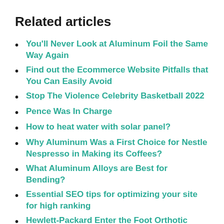Related articles
You'll Never Look at Aluminum Foil the Same Way Again
Find out the Ecommerce Website Pitfalls that You Can Easily Avoid
Stop The Violence Celebrity Basketball 2022
Pence Was In Charge
How to heat water with solar panel?
Why Aluminum Was a First Choice for Nestle Nespresso in Making its Coffees?
What Aluminum Alloys are Best for Bending?
Essential SEO tips for optimizing your site for high ranking
Hewlett-Packard Enter the Foot Orthotic Market
Will Real Estate Prices Drop In 2022 Australia?
Why are Women More Likely to Get TMJ Problems Than Men?